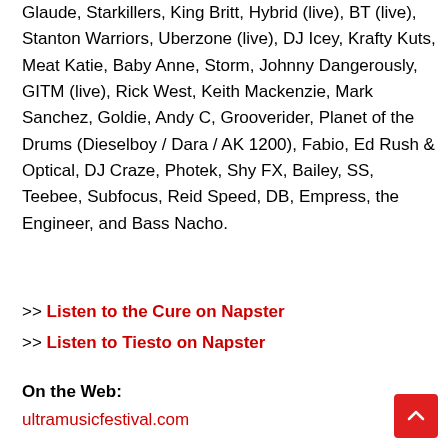Glaude, Starkillers, King Britt, Hybrid (live), BT (live), Stanton Warriors, Uberzone (live), DJ Icey, Krafty Kuts, Meat Katie, Baby Anne, Storm, Johnny Dangerously, GITM (live), Rick West, Keith Mackenzie, Mark Sanchez, Goldie, Andy C, Grooverider, Planet of the Drums (Dieselboy / Dara / AK 1200), Fabio, Ed Rush & Optical, DJ Craze, Photek, Shy FX, Bailey, SS, Teebee, Subfocus, Reid Speed, DB, Empress, the Engineer, and Bass Nacho.
>> Listen to the Cure on Napster
>> Listen to Tiesto on Napster
On the Web:
ultramusicfestival.com